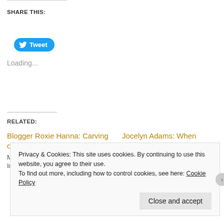SHARE THIS:
[Figure (other): Twitter Tweet button - blue rounded button with bird icon and 'Tweet' text]
Loading...
RELATED:
Blogger Roxie Hanna: Carving out your niche
May 6, 2012
In "Authors Talk"
Jocelyn Adams: When writing's as simple as watching a movie
May 5, 2012
In "Authors Talk"
Privacy & Cookies: This site uses cookies. By continuing to use this website, you agree to their use.
To find out more, including how to control cookies, see here: Cookie Policy
Close and accept